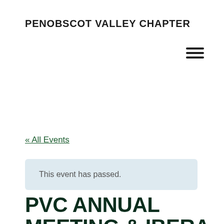PENOBSCOT VALLEY CHAPTER
[Figure (other): Hamburger menu icon (three horizontal lines) in top-right corner]
« All Events
This event has passed.
PVC ANNUAL MEETING & IBERA LECTURE: